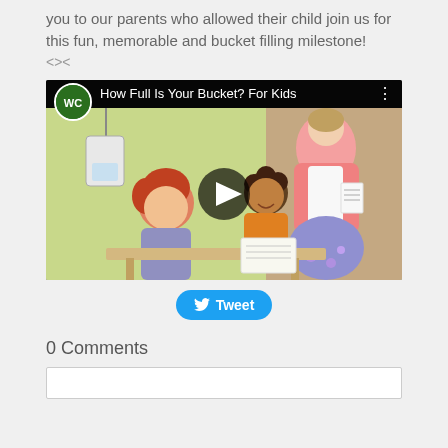you to our parents who allowed their child join us for this fun, memorable and bucket filling milestone!
<><
[Figure (screenshot): Embedded YouTube video thumbnail showing 'How Full Is Your Bucket? For Kids' with illustrated cartoon children and a teacher figure, with a play button overlay.]
Tweet
0 Comments